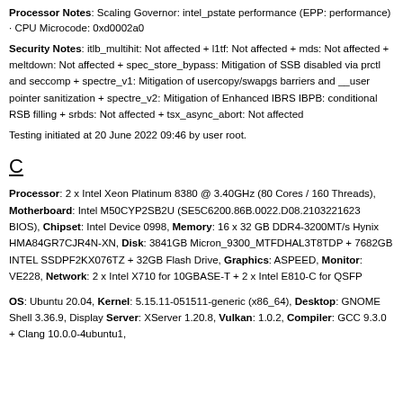Processor Notes: Scaling Governor: intel_pstate performance (EPP: performance) · CPU Microcode: 0xd0002a0
Security Notes: itlb_multihit: Not affected + l1tf: Not affected + mds: Not affected + meltdown: Not affected + spec_store_bypass: Mitigation of SSB disabled via prctl and seccomp + spectre_v1: Mitigation of usercopy/swapgs barriers and __user pointer sanitization + spectre_v2: Mitigation of Enhanced IBRS IBPB: conditional RSB filling + srbds: Not affected + tsx_async_abort: Not affected
Testing initiated at 20 June 2022 09:46 by user root.
C
Processor: 2 x Intel Xeon Platinum 8380 @ 3.40GHz (80 Cores / 160 Threads), Motherboard: Intel M50CYP2SB2U (SE5C6200.86B.0022.D08.2103221623 BIOS), Chipset: Intel Device 0998, Memory: 16 x 32 GB DDR4-3200MT/s Hynix HMA84GR7CJR4N-XN, Disk: 3841GB Micron_9300_MTFDHAL3T8TDP + 7682GB INTEL SSDPF2KX076TZ + 32GB Flash Drive, Graphics: ASPEED, Monitor: VE228, Network: 2 x Intel X710 for 10GBASE-T + 2 x Intel E810-C for QSFP
OS: Ubuntu 20.04, Kernel: 5.15.11-051511-generic (x86_64), Desktop: GNOME Shell 3.36.9, Display Server: XServer 1.20.8, Vulkan: 1.0.2, Compiler: GCC 9.3.0 + Clang 10.0.0-4ubuntu1,